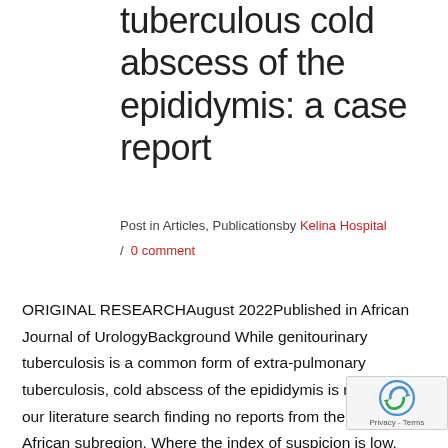tuberculous cold abscess of the epididymis: a case report
Post in Articles, Publicationsby Kelina Hospital
/ 0 comment
ORIGINAL RESEARCHAugust 2022Published in African Journal of UrologyBackground While genitourinary tuberculosis is a common form of extra-pulmonary tuberculosis, cold abscess of the epididymis is rare with our literature search finding no reports from the West African subregion. Where the index of suspicion is low, diagnosis may be missed and unnecessary surgery may be performed despite high suspicion [...]